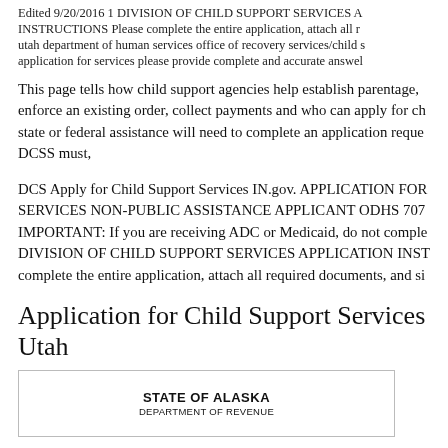Edited 9/20/2016 1 DIVISION OF CHILD SUPPORT SERVICES A INSTRUCTIONS Please complete the entire application, attach all r utah department of human services office of recovery services/child s application for services please provide complete and accurate answel
This page tells how child support agencies help establish parentage, p enforce an existing order, collect payments and who can apply for ch state or federal assistance will need to complete an application reque DCSS must,
DCS Apply for Child Support Services IN.gov. APPLICATION FOR SERVICES NON-PUBLIC ASSISTANCE APPLICANT ODHS 707 IMPORTANT: If you are receiving ADC or Medicaid, do not comple DIVISION OF CHILD SUPPORT SERVICES APPLICATION INST complete the entire application, attach all required documents, and si
Application for Child Support Services Utah
[Figure (other): State of Alaska Department of Revenue letterhead/logo box]